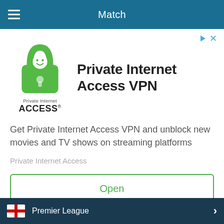Match
[Figure (screenshot): Private Internet Access VPN advertisement with green padlock logo, app title 'Private Internet Access VPN', description text, brand name, and Open button]
Get Private Internet Access VPN and unblock new movies and TV shows on streaming platforms
Private Internet Access
Open
Premier League